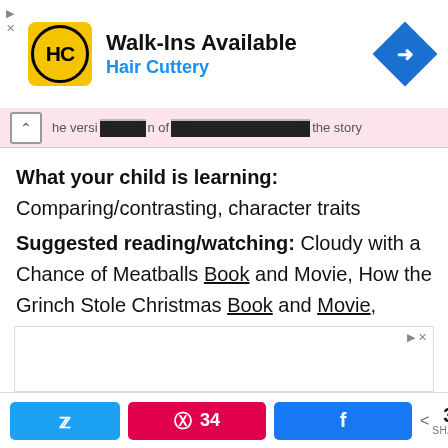[Figure (screenshot): Hair Cuttery advertisement banner: Walk-Ins Available, Hair Cuttery, with HC logo and navigation arrow icon]
the version of the story
What your child is learning: Comparing/contrasting, character traits
Suggested reading/watching: Cloudy with a Chance of Meatballs Book and Movie, How the Grinch Stole Christmas Book and Movie, Curious George Books and Movie
[Figure (screenshot): Empty advertisement box]
34 SHARES